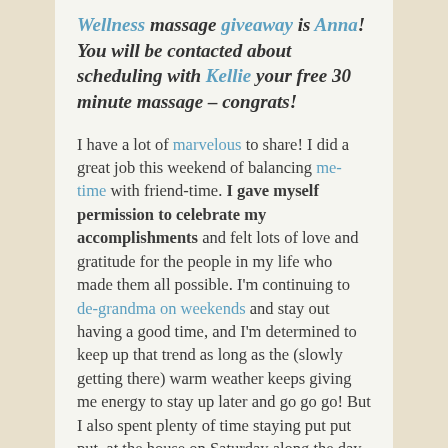Wellness massage giveaway is Anna! You will be contacted about scheduling with Kellie your free 30 minute massage – congrats!
I have a lot of marvelous to share! I did a great job this weekend of balancing me-time with friend-time. I gave myself permission to celebrate my accomplishments and felt lots of love and gratitude for the people in my life who made them all possible. I'm continuing to de-grandma on weekends and stay out having a good time, and I'm determined to keep up that trend as long as the (slowly getting there) warm weather keeps giving me energy to stay up later and go go go! But I also spent plenty of time staying put put put, at the house on Saturday along the day and Sunday at home...